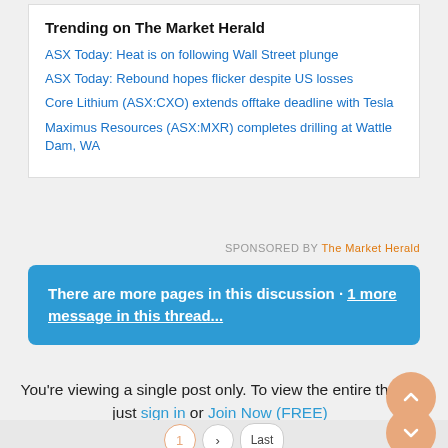Trending on The Market Herald
ASX Today: Heat is on following Wall Street plunge
ASX Today: Rebound hopes flicker despite US losses
Core Lithium (ASX:CXO) extends offtake deadline with Tesla
Maximus Resources (ASX:MXR) completes drilling at Wattle Dam, WA
SPONSORED BY The Market Herald
There are more pages in this discussion · 1 more message in this thread...
You're viewing a single post only. To view the entire thread just sign in or Join Now (FREE)